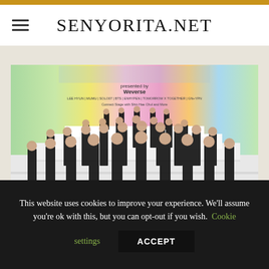SENYORITA.NET
[Figure (photo): Concert/event promotional image showing a large group of K-pop artists (approximately 30 people) dressed in formal black suits and outfits, standing on a tiered white stage with a colorful rainbow gradient backdrop. Text reads 'presented by Weverse' with artist names: LEE HYUN, MUJU, SOLO07, BTS, ENHYPEN, TOMORROW X TOGETHER, GN+YPN. Connect Stage with Shin Hae Chul and More.]
This website uses cookies to improve your experience. We'll assume you're ok with this, but you can opt-out if you wish. Cookie settings ACCEPT